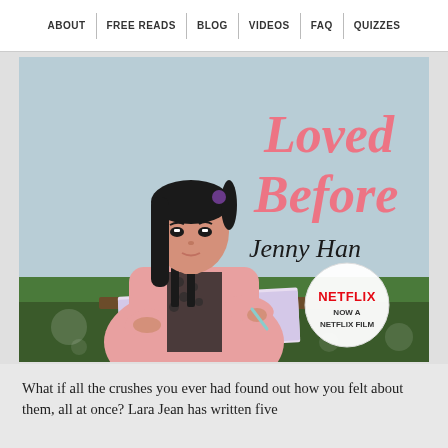ABOUT | FREE READS | BLOG | VIDEOS | FAQ | QUIZZES
[Figure (photo): Book cover for 'To All the Boys I've Loved Before' by Jenny Han, featuring a young Asian woman in a pink jacket writing at an outdoor table. The title text in pink script reads 'Loved Before' and author name 'Jenny Han' in black script. A white circular badge reads 'NETFLIX NOW A NETFLIX FILM'.]
What if all the crushes you ever had found out how you felt about them, all at once? Lara Jean has written five